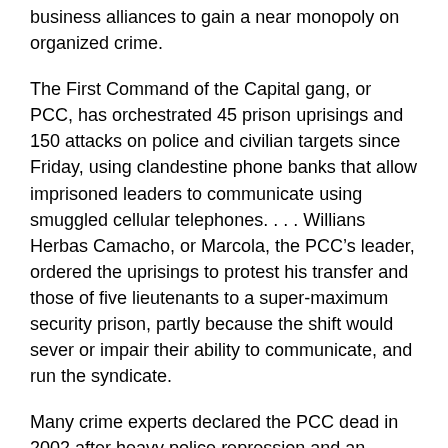business alliances to gain a near monopoly on organized crime.
The First Command of the Capital gang, or PCC, has orchestrated 45 prison uprisings and 150 attacks on police and civilian targets since Friday, using clandestine phone banks that allow imprisoned leaders to communicate using smuggled cellular telephones. . . . Willians Herbas Camacho, or Marcola, the PCC’s leader, ordered the uprisings to protest his transfer and those of five lieutenants to a super-maximum security prison, partly because the shift would sever or impair their ability to communicate, and run the syndicate.
Many crime experts declared the PCC dead in 2002 after heavy police repression and an internecine war that killed 15 of its directors. But since his ascension in 2003, Marcola has reorganized the PCC and won a reputation as a savvy innovator. . . . Born in the crowded state